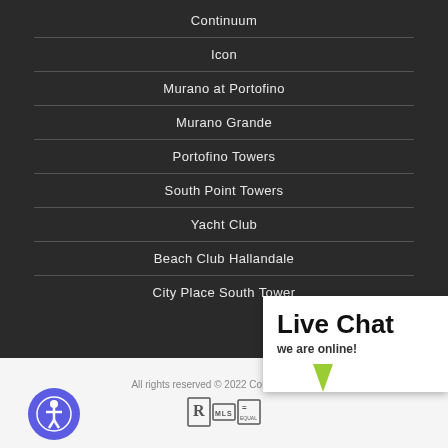Continuum
Icon
Murano at Portofino
Murano Grande
Portofino Towers
South Point Towers
Yacht Club
Beach Club Hallandale
City Place South Tower
All rights reserved © 2022 Continuum in...
[Figure (logo): Realtor MLS and Equal Housing Opportunity logos]
[Figure (illustration): Accessibility button - circular purple icon with person symbol]
[Figure (infographic): Live Chat bubble - white box with bold text 'Live Chat we are online!' and green triangle pointer]